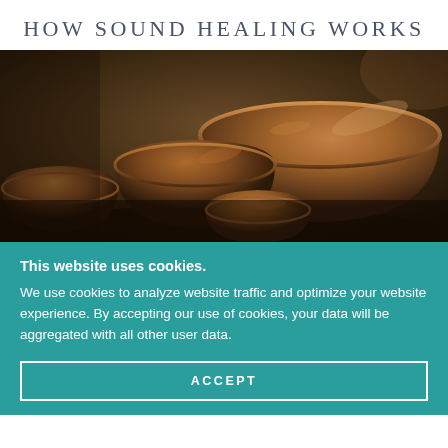HOW SOUND HEALING WORKS
[Figure (photo): Multiple Tibetan/singing bowls of various sizes arranged together, photographed in warm brown/copper tones with ambient lighting]
This website uses cookies.
We use cookies to analyze website traffic and optimize your website experience. By accepting our use of cookies, your data will be aggregated with all other user data.
ACCEPT